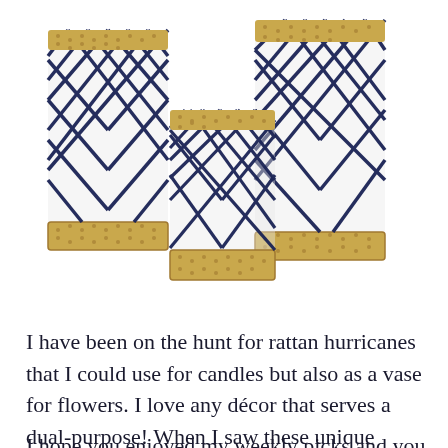[Figure (illustration): Three navy blue rattan/woven hurricane candle holders of varying heights with natural seagrass/wicker banding at top and bottom, set against a white background. The holders have a diamond lattice weave pattern in navy blue over glass cylinders.]
I have been on the hunt for rattan hurricanes that I could use for candles but also as a vase for flowers. I love any décor that serves a dual-purpose! When I saw these unique hurricanes I knew I had to add them to my must have list! Of course since they are navy they have to go to the top of the list.
I hope you enjoyed my weekly picks and you all